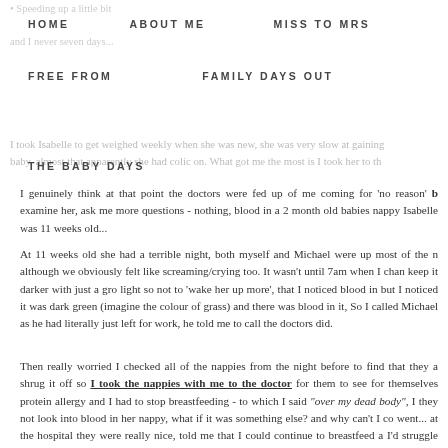HOME   ABOUT ME   MISS TO MRS   FREE FROM   FAMILY DAYS OUT   THE BABY DAYS
I genuinely think at that point the doctors were fed up of me coming for 'no reason' b examine her, ask me more questions - nothing, blood in a 2 month old babies nappy Isabelle was 11 weeks old...
At 11 weeks old she had a terrible night, both myself and Michael were up most of the n although we obviously felt like screaming/crying too. It wasn't until 7am when I chan keep it darker with just a gro light so not to 'wake her up more', that I noticed blood in but I noticed it was dark green (imagine the colour of grass) and there was blood in it, So I called Michael as he had literally just left for work, he told me to call the doctors did.
Then really worried I checked all of the nappies from the night before to find that they a shrug it off so I took the nappies with me to the doctor for them to see for themselves protein allergy and I had to stop breastfeeding - to which I said "over my dead body", I they not look into blood in her nappy, what if it was something else? and why can't I co went... at the hospital they were really nice, told me that I could continue to breastfeed a I'd struggle with much more than I have. They gave me a booklet from their dietitian a